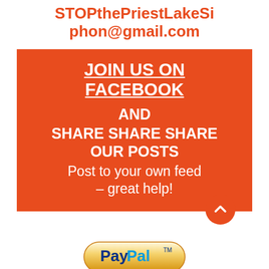STOPthePriestLakeSiphon@gmail.com
[Figure (infographic): Orange rectangle with white text: JOIN US ON FACEBOOK AND SHARE SHARE SHARE OUR POSTS Post to your own feed - great help! with an orange circle arrow button at bottom right]
[Figure (logo): PayPal button logo]